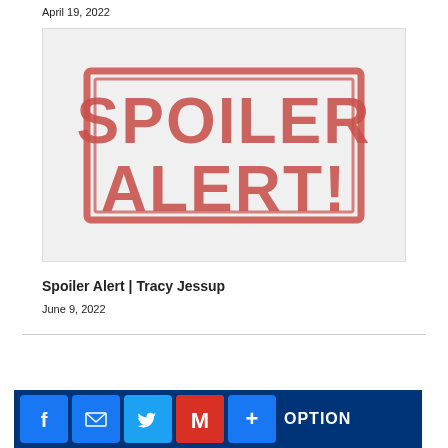April 19, 2022
[Figure (photo): Spoiler Alert stamp image — a red rubber stamp style graphic with the text SPOILER ALERT! in bold distressed letters inside a rectangle border, on a light grey background.]
Spoiler Alert | Tracy Jessup
June 9, 2022
[Figure (infographic): Social sharing bar at bottom with Facebook, Email, Twitter, Gmail, and More (+) icons followed by the word OPTION in white text on a dark navy blue background.]